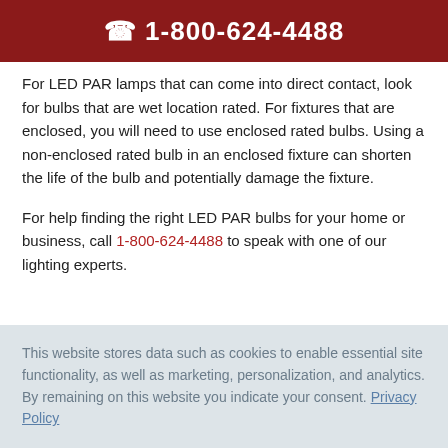📞 1-800-624-4488
For LED PAR lamps that can come into direct contact, look for bulbs that are wet location rated. For fixtures that are enclosed, you will need to use enclosed rated bulbs. Using a non-enclosed rated bulb in an enclosed fixture can shorten the life of the bulb and potentially damage the fixture.
For help finding the right LED PAR bulbs for your home or business, call 1-800-624-4488 to speak with one of our lighting experts.
This website stores data such as cookies to enable essential site functionality, as well as marketing, personalization, and analytics. By remaining on this website you indicate your consent. Privacy Policy